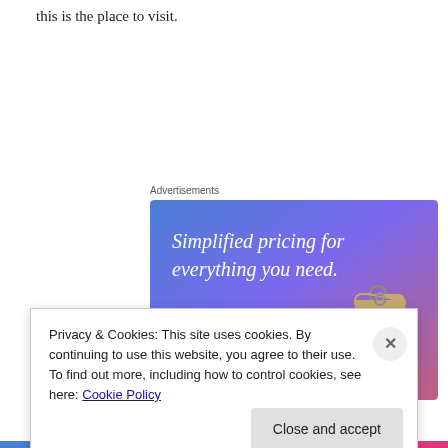this is the place to visit.
Advertisements
[Figure (screenshot): Advertisement banner with gradient blue-purple-pink background, white serif text reading 'Simplified pricing for everything you need.', a pink 'Build Your Website' button, and a tan price tag illustration on the right.]
Privacy & Cookies: This site uses cookies. By continuing to use this website, you agree to their use.
To find out more, including how to control cookies, see here: Cookie Policy
Close and accept